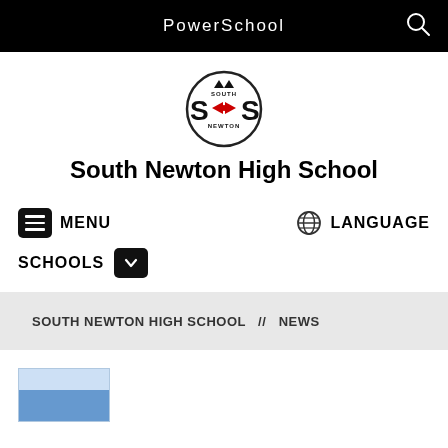PowerSchool
[Figure (logo): South Newton High School logo: circular emblem with 'S' letters on sides, red bow tie, crown, and 'SOUTH NEWTON' text]
South Newton High School
MENU
LANGUAGE
SCHOOLS
SOUTH NEWTON HIGH SCHOOL  //  NEWS
[Figure (photo): Partial thumbnail image visible at bottom left, appears to be a photo with blue coloring]